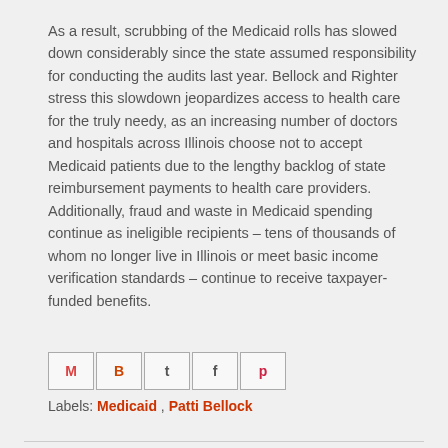As a result, scrubbing of the Medicaid rolls has slowed down considerably since the state assumed responsibility for conducting the audits last year. Bellock and Righter stress this slowdown jeopardizes access to health care for the truly needy, as an increasing number of doctors and hospitals across Illinois choose not to accept Medicaid patients due to the lengthy backlog of state reimbursement payments to health care providers. Additionally, fraud and waste in Medicaid spending continue as ineligible recipients – tens of thousands of whom no longer live in Illinois or meet basic income verification standards – continue to receive taxpayer-funded benefits.
[Figure (other): Social sharing icons row: Email (M), Blogger (B), Twitter (t), Facebook (f), Pinterest (p)]
Labels: Medicaid , Patti Bellock